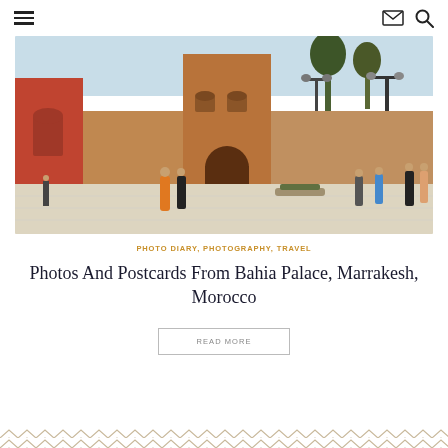Navigation header with hamburger menu, mail icon, and search icon
[Figure (photo): Photograph of a Moroccan building (Bahia Palace area), Marrakesh, Morocco. Terracotta-colored historic tower and walls with people in the foreground on a plaza.]
PHOTO DIARY, PHOTOGRAPHY, TRAVEL
Photos And Postcards From Bahia Palace, Marrakesh, Morocco
READ MORE
Decorative chevron/zigzag border